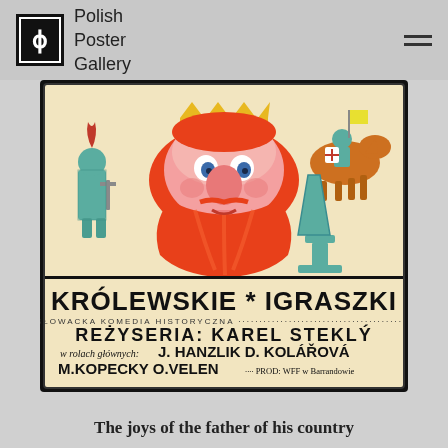Polish Poster Gallery
[Figure (illustration): Polish movie poster for 'Królewskie Igraszki' (Royal Jests), a Czechoslovak historical comedy. Features a cartoon king with a large red beard and crown, flanked by armored knights and a horse with a rider. Bottom section shows bold text: KRÓLEWSKIE * IGRASZKI, CZECHOSŁOWACKA KOMEDIA HISTORYCZNA, REŻYSERIA: KAREL STEKLÝ, w rolach głównych: J.HANZLIK D.KOLÁŘOVÁ, M.KOPECKÝ O.VELEN ...... PROD: WFF w Barrandowie]
The joys of the father of his country